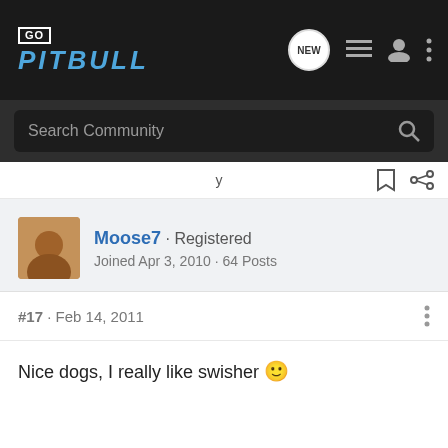GO PITBULL
Search Community
y
Moose7 · Registered
Joined Apr 3, 2010 · 64 Posts
#17 · Feb 14, 2011
Nice dogs, I really like swisher 🙂